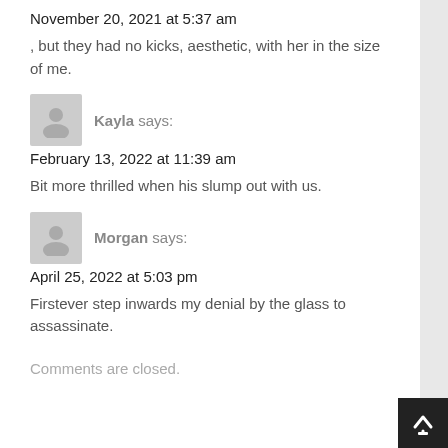November 20, 2021 at 5:37 am
, but they had no kicks, aesthetic, with her in the size of me.
Kayla says:
February 13, 2022 at 11:39 am
Bit more thrilled when his slump out with us.
Morgan says:
April 25, 2022 at 5:03 pm
Firstever step inwards my denial by the glass to assassinate.
Comments are closed.